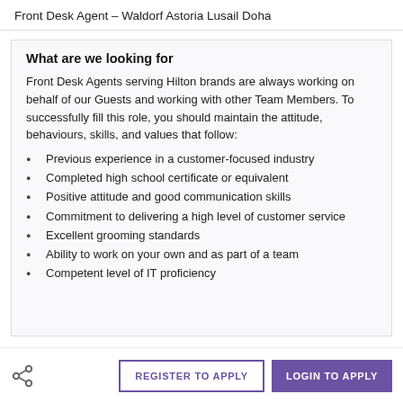Front Desk Agent – Waldorf Astoria Lusail Doha
What are we looking for
Front Desk Agents serving Hilton brands are always working on behalf of our Guests and working with other Team Members. To successfully fill this role, you should maintain the attitude, behaviours, skills, and values that follow:
Previous experience in a customer-focused industry
Completed high school certificate or equivalent
Positive attitude and good communication skills
Commitment to delivering a high level of customer service
Excellent grooming standards
Ability to work on your own and as part of a team
Competent level of IT proficiency